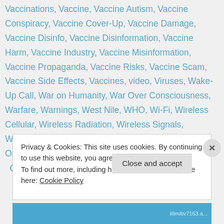Vaccinations, Vaccine, Vaccine Autism, Vaccine Conspiracy, Vaccine Cover-Up, Vaccine Damage, Vaccine Disinfo, Vaccine Disinformation, Vaccine Harm, Vaccine Industry, Vaccine Misinformation, Vaccine Propaganda, Vaccine Risks, Vaccine Scam, Vaccine Side Effects, Vaccines, video, Viruses, Wake-Up Call, War on Humanity, War Over Consciousness, Warfare, Warnings, West Nile, WHO, Wi-Fi, Wireless Cellular, Wireless Radiation, Wireless Signals, Wireless Technology, World, World Health Organization, World Health Organization (WHO), Zika   0 Comments
Privacy & Cookies: This site uses cookies. By continuing to use this website, you agree to their use. To find out more, including how to control cookies, see here: Cookie Policy